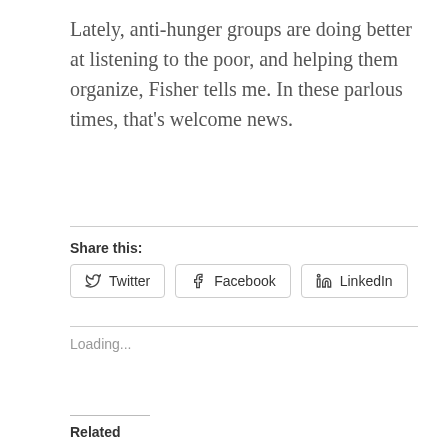Lately, anti-hunger groups are doing better at listening to the poor, and helping them organize, Fisher tells me. In these parlous times, that's welcome news.
Share this:
Twitter  Facebook  LinkedIn
Loading...
Related